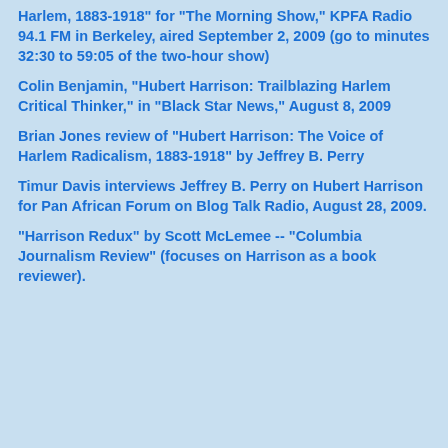Harlem, 1883-1918" for "The Morning Show," KPFA Radio 94.1 FM in Berkeley, aired September 2, 2009 (go to minutes 32:30 to 59:05 of the two-hour show)
Colin Benjamin, "Hubert Harrison: Trailblazing Harlem Critical Thinker," in "Black Star News," August 8, 2009
Brian Jones review of "Hubert Harrison: The Voice of Harlem Radicalism, 1883-1918" by Jeffrey B. Perry
Timur Davis interviews Jeffrey B. Perry on Hubert Harrison for Pan African Forum on Blog Talk Radio, August 28, 2009.
"Harrison Redux" by Scott McLemee -- "Columbia Journalism Review" (focuses on Harrison as a book reviewer).